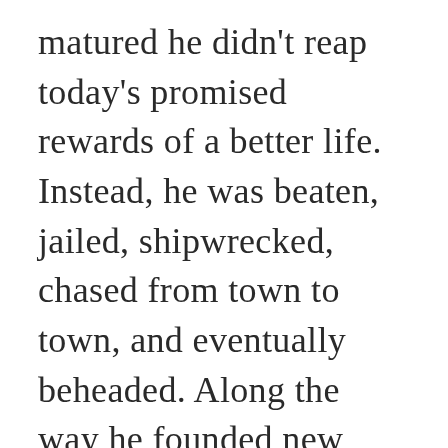matured he didn't reap today's promised rewards of a better life.  Instead, he was beaten, jailed, shipwrecked, chased from town to town, and eventually beheaded. Along the way he founded new congregations,